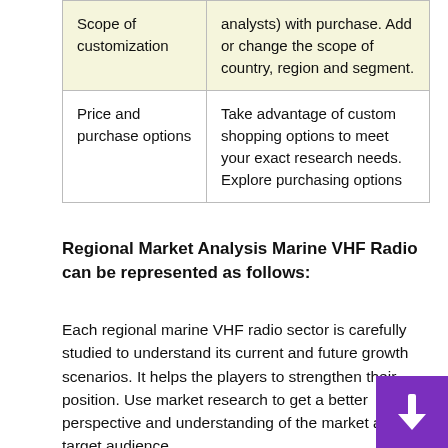|  |  |
| --- | --- |
| Scope of customization | analysts) with purchase. Add or change the scope of country, region and segment. |
| Price and purchase options | Take advantage of custom shopping options to meet your exact research needs. Explore purchasing options |
Regional Market Analysis Marine VHF Radio can be represented as follows:
Each regional marine VHF radio sector is carefully studied to understand its current and future growth scenarios. It helps the players to strengthen their position. Use market research to get a better perspective and understanding of the market and target audience